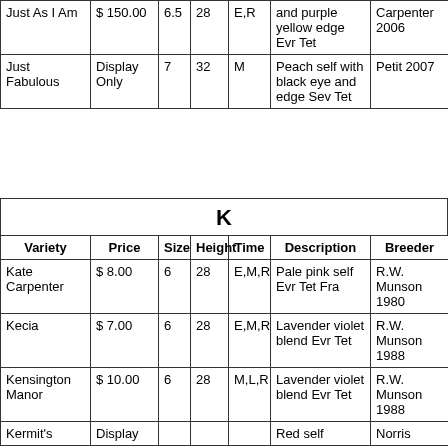| Variety | Price | Size | Height | Time | Description | Breeder |
| --- | --- | --- | --- | --- | --- | --- |
| Just As I Am | $ 150.00 | 6.5 | 28 | E,R | and purple yellow edge Evr Tet | Carpenter 2006 |
| Just Fabulous | Display Only | 7 | 32 | M | Peach self with black eye and edge Sev Tet | Petit 2007 |
K
| Variety | Price | Size | Height | Time | Description | Breeder |
| --- | --- | --- | --- | --- | --- | --- |
| Kate Carpenter | $ 8.00 | 6 | 28 | E,M,R | Pale pink self Evr Tet Fra | R.W. Munson 1980 |
| Kecia | $ 7.00 | 6 | 28 | E,M,R | Lavender violet blend Evr Tet | R.W. Munson 1988 |
| Kensington Manor | $ 10.00 | 6 | 28 | M,L,R | Lavender violet blend Evr Tet | R.W. Munson 1988 |
| Kermit's | Display |  |  |  | Red self | Norris |